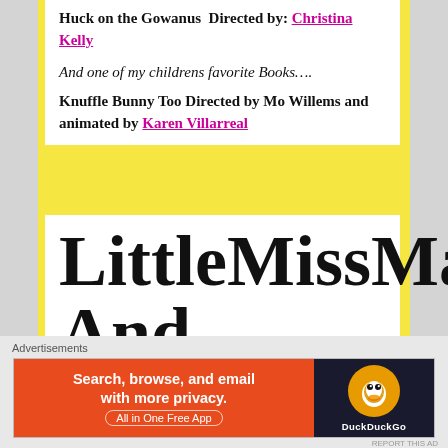Huck on the Gowanus Directed by: Christina Kelly
And one of my childrens favorite Books….
Knuffle Bunny Too Directed by Mo Willems and animated by Karen Villarreal
LittleMissMatched And Bendigirl Yoga At
Advertisements
[Figure (screenshot): DuckDuckGo advertisement banner with orange left panel reading 'Search, browse, and email with more privacy. All in One Free App' and dark right panel with DuckDuckGo logo]